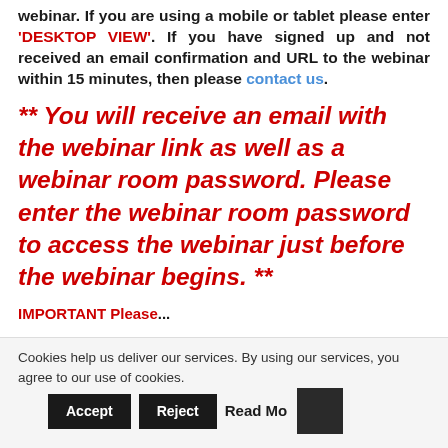webinar. If you are using a mobile or tablet please enter 'DESKTOP VIEW'. If you have signed up and not received an email confirmation and URL to the webinar within 15 minutes, then please contact us.
** You will receive an email with the webinar link as well as a webinar room password. Please enter the webinar room password to access the webinar just before the webinar begins. **
IMPORTANT Please...
Cookies help us deliver our services. By using our services, you agree to our use of cookies. Accept  Reject  Read More